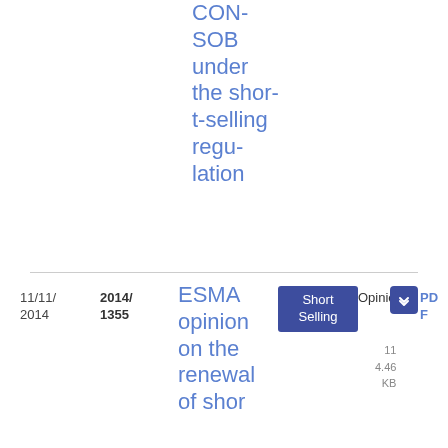CONSOBunder the short-selling regulation
| Date | Ref | Title | Tag | Type | File |
| --- | --- | --- | --- | --- | --- |
| 11/11/2014 | 2014/1355 | ESMA opinion on the renewal of shor... | Short Selling | Opinion | PDF 11 4.46 KB |